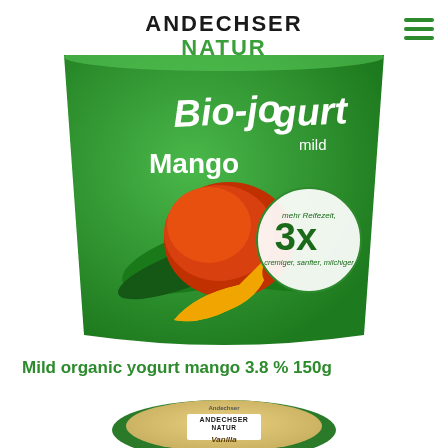ANDECHSER NATUR
[Figure (photo): Top-down cropped view of a green Andechser Natur Bio-Jogurt mild Mango yogurt cup with mango fruit image and '3x mehr Reifezeit, cremiger, sanfter, milchiger' badge]
Mild organic yogurt mango 3.8 % 150g
[Figure (photo): Top-down partial view of an Andechser Natur Vanilla yogurt cup with green lid]